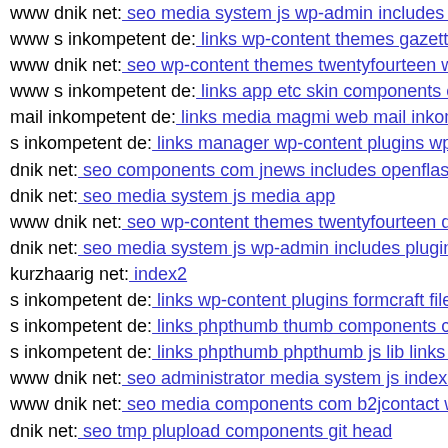www dnik net: seo media system js wp-admin includes co…
www s inkompetent de: links wp-content themes gazette d…
www dnik net: seo wp-content themes twentyfourteen wp-…
www s inkompetent de: links app etc skin components con…
mail inkompetent de: links media magmi web mail inkomp…
s inkompetent de: links manager wp-content plugins wp-fi…
dnik net: seo components com jnews includes openflashch…
dnik net: seo media system js media app
www dnik net: seo wp-content themes twentyfourteen dow…
dnik net: seo media system js wp-admin includes plugins c…
kurzhaarig net: index2
s inkompetent de: links wp-content plugins formcraft file-u…
s inkompetent de: links phpthumb thumb components com…
s inkompetent de: links phpthumb phpthumb js lib links wy…
www dnik net: seo administrator media system js index inc…
www dnik net: seo media components com b2jcontact wp-…
dnik net: seo tmp plupload components git head
dnik net: seo media system js skin wp-content themes para…
dnik net: seo images stories explore php
dnik net: seo wp-content themes pinshop themify
s inkompetent de: links admin wp-content themes bazar th…